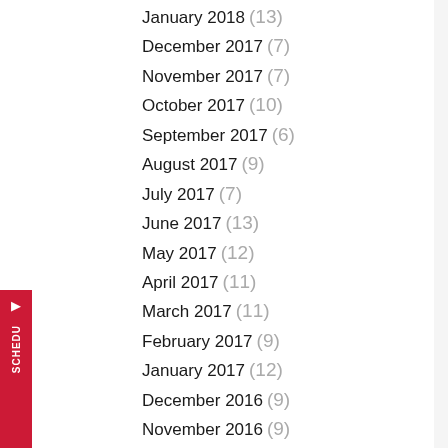January 2018 (13)
December 2017 (7)
November 2017 (7)
October 2017 (10)
September 2017 (6)
August 2017 (9)
July 2017 (7)
June 2017 (13)
May 2017 (12)
April 2017 (11)
March 2017 (11)
February 2017 (9)
January 2017 (12)
December 2016 (9)
November 2016 (9)
October 2016 (10)
September 2016 (12)